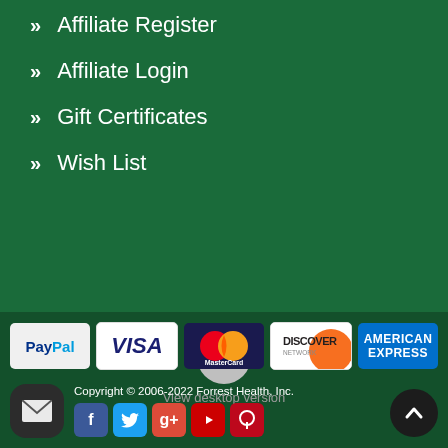» Affiliate Register
» Affiliate Login
» Gift Certificates
» Wish List
[Figure (other): View desktop version icon — monitor icon in white circle on green background with label 'View desktop version']
[Figure (other): Payment method logos: PayPal, Visa, MasterCard, Discover Network, American Express]
Copyright © 2006-2022 Forrest Health, Inc.